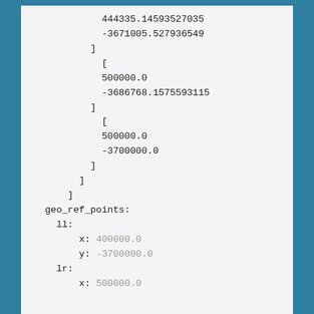444335.14593527035
-3671005.527936549
]
[
500000.0
-3686768.1575593115
]
[
500000.0
-3700000.0
]
]
]
geo_ref_points:
  ll:
    x: 400000.0
    y: -3700000.0
  lr:
    x: 500000.0